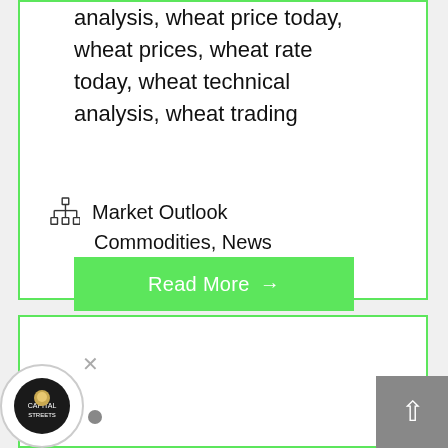analysis, wheat price today, wheat prices, wheat rate today, wheat technical analysis, wheat trading
Market Outlook Commodities, News
Read More →
[Figure (other): Second card panel with loading dots indicator at the bottom]
[Figure (logo): Capital Streets lion logo circle, bottom left]
×
[Figure (other): Scroll to top button, dark grey square with upward chevron arrow]